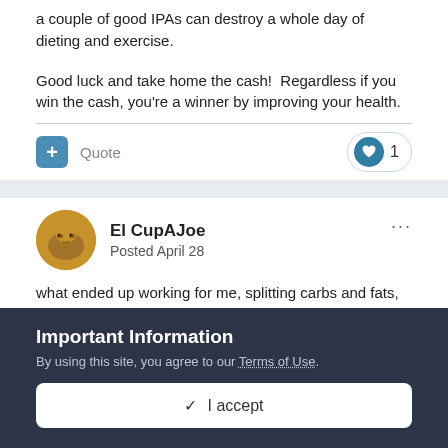a couple of good IPAs can destroy a whole day of dieting and exercise.
Good luck and take home the cash!  Regardless if you win the cash, you're a winner by improving your health.
El CupAJoe
Posted April 28
what ended up working for me, splitting carbs and fats, eating carbs only one meal a day, speed walking for long durations up
Important Information
By using this site, you agree to our Terms of Use.
I accept